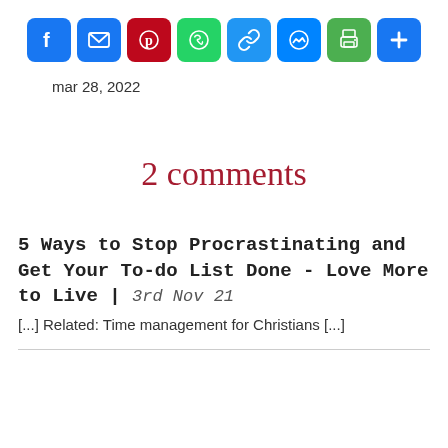[Figure (infographic): Social sharing icon buttons: Facebook (blue), Email (blue), Pinterest (red), WhatsApp (green), Link (blue), Messenger (blue), Print (green), Plus/More (blue)]
mar 28, 2022
2 comments
5 Ways to Stop Procrastinating and Get Your To-do List Done - Love More to Live | 3rd Nov 21
[...] Related: Time management for Christians [...]